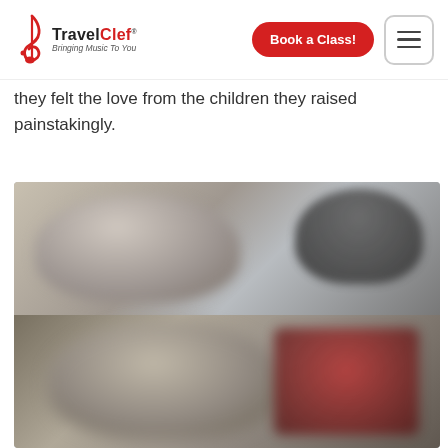TravelClef – Bringing Music To You
they felt the love from the children they raised painstakingly.
[Figure (photo): A blurred photo collage showing adults and children in two panels — top panel shows two blurred faces (an adult and a child/person in dark clothing), bottom panel shows blurred close-up faces of children, one appearing near a red object.]